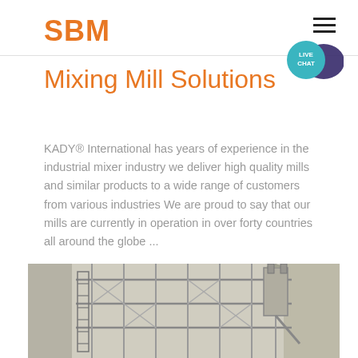SBM
Mixing Mill Solutions
KADY® International has years of experience in the industrial mixer industry we deliver high quality mills and similar products to a wide range of customers from various industries We are proud to say that our mills are currently in operation in over forty countries all around the globe ...
[Figure (photo): Industrial mixing mill equipment with scaffolding structure, metal framework and industrial machinery visible]